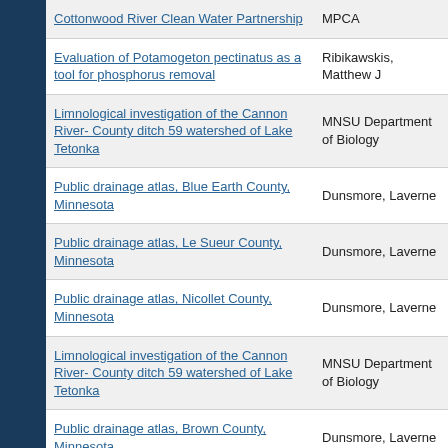| Title | Author/Organization |
| --- | --- |
| Cottonwood River Clean Water Partnership | MPCA |
| Evaluation of Potamogeton pectinatus as a tool for phosphorus removal | Ribikawskis, Matthew J |
| Limnological investigation of the Cannon River- County ditch 59 watershed of Lake Tetonka | MNSU Department of Biology |
| Public drainage atlas, Blue Earth County, Minnesota | Dunsmore, Laverne |
| Public drainage atlas, Le Sueur County, Minnesota | Dunsmore, Laverne |
| Public drainage atlas, Nicollet County, Minnesota | Dunsmore, Laverne |
| Limnological investigation of the Cannon River- County ditch 59 watershed of Lake Tetonka | MNSU Department of Biology |
| Public drainage atlas, Brown County, Minnesota | Dunsmore, Laverne |
| Morphometric atlas of mapped fish lakes, south central | Quade, Henry |